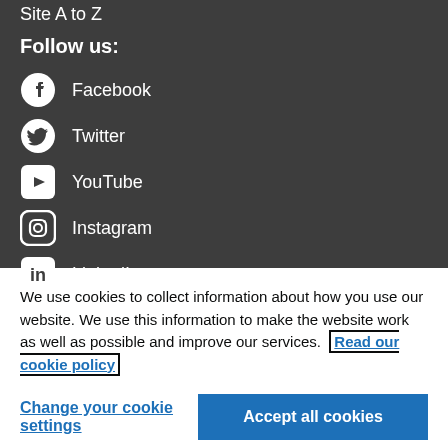Site A to Z
Follow us:
Facebook
Twitter
YouTube
Instagram
LinkedIn
We use cookies to collect information about how you use our website. We use this information to make the website work as well as possible and improve our services. Read our cookie policy
Change your cookie settings
Accept all cookies